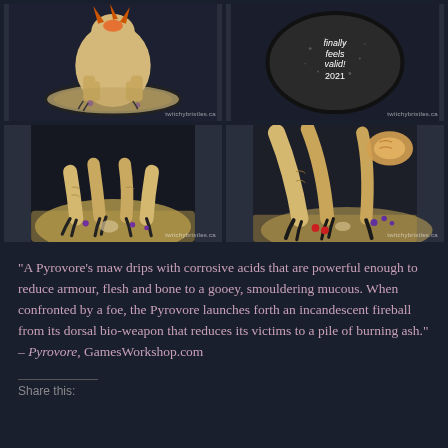[Figure (photo): Four close-up photos of a painted Pyrovore miniature figure on a dark background, arranged in a 2x2 grid. Top-left: full figure on base. Top-right: base underside with 'finally feels valid! 2021' inscription. Bottom-left: close-up of legs and base details with purple gems. Bottom-right: close-up of claws and red/purple details on base.]
“A Pyrovore’s maw drips with corrosive acids that are powerful enough to reduce armour, flesh and bone to a gooey, smouldering mucous. When confronted by a foe, the Pyrovore launches forth an incandescent fireball from its dorsal bio-weapon that reduces its victims to a pile of burning ash.” – Pyrovore, GamesWorkshop.com
Share this: